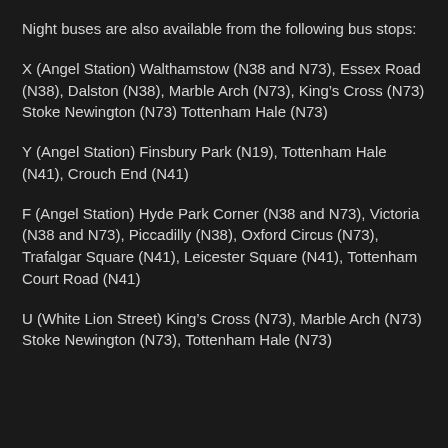Night buses are also available from the following bus stops:
X (Angel Station) Walthamstow (N38 and N73), Essex Road (N38), Dalston (N38), Marble Arch (N73), King's Cross (N73) Stoke Newington (N73) Tottenham Hale (N73)
Y (Angel Station) Finsbury Park (N19), Tottenham Hale (N41), Crouch End (N41)
F (Angel Station) Hyde Park Corner (N38 and N73), Victoria (N38 and N73), Piccadilly (N38), Oxford Circus (N73), Trafalgar Square (N41), Leicester Square (N41), Tottenham Court Road (N41)
U (White Lion Street) King's Cross (N73), Marble Arch (N73) Stoke Newington (N73), Tottenham Hale (N73)